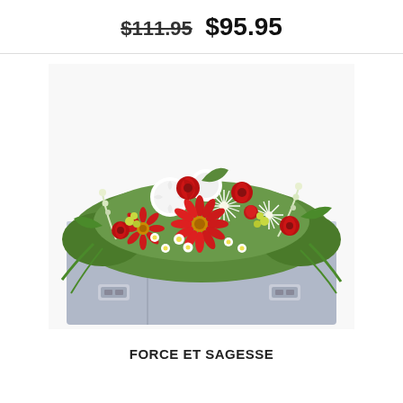$111.95  $95.95
[Figure (photo): A floral casket spray arrangement featuring red roses, red gerbera daisies, white chrysanthemums, white daisies, and green foliage on top of a silver/grey casket with decorative silver handles.]
FORCE ET SAGESSE